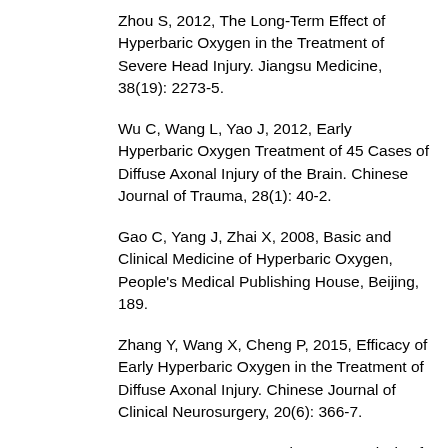Zhou S, 2012, The Long-Term Effect of Hyperbaric Oxygen in the Treatment of Severe Head Injury. Jiangsu Medicine, 38(19): 2273-5.
Wu C, Wang L, Yao J, 2012, Early Hyperbaric Oxygen Treatment of 45 Cases of Diffuse Axonal Injury of the Brain. Chinese Journal of Trauma, 28(1): 40-2.
Gao C, Yang J, Zhai X, 2008, Basic and Clinical Medicine of Hyperbaric Oxygen, People's Medical Publishing House, Beijing, 189.
Zhang Y, Wang X, Cheng P, 2015, Efficacy of Early Hyperbaric Oxygen in the Treatment of Diffuse Axonal Injury. Chinese Journal of Clinical Neurosurgery, 20(6): 366-7.
Yan X, Mo Y, Huo G, et al., 2017, Analysis of the Clinical Efficacy of Hyperbaric Oxygen in the Treatment of Diffuse Axonal Injury. Western Medicine, 29(2): 222-5, 229.
Li M, Wei J, et al., 2013, The Pathogenesis and Treatment Progress of Diffuse Axonal Injury. Chinese Medical Journal, 93(5): 397-9.